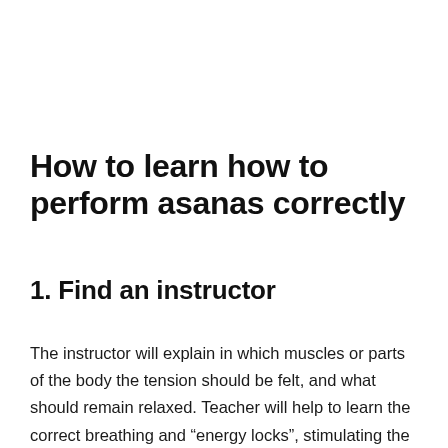How to learn how to perform asanas correctly
1. Find an instructor
The instructor will explain in which muscles or parts of the body the tension should be felt, and what should remain relaxed. Teacher will help to learn the correct breathing and “energy locks”, stimulating the work of internal organs.